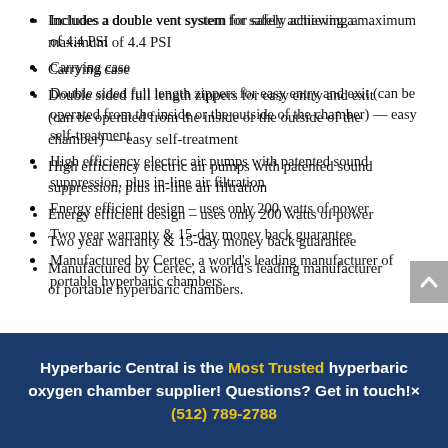Includes a double vent system for safely achieving a maximum of 4.4 PSI
Carrying case
Double sided full length zippers for easy entry and exit (can be operated from the inside or the outside of the chamber) — easy self-treatment
High efficiency electric air pumps with patented sound suppression, plus in-line air filtration
Energy efficient design – uses only 200 watts of power
Two year warranty & 15-day money back guarantee
Manufactured by Certec, a world's leading manufacturer of portable hyperbaric chambers.
Hyperbaric Central is the Most Trusted hyperbaric oxygen chamber supplier! Questions? Get in touch!× (512) 789-2788